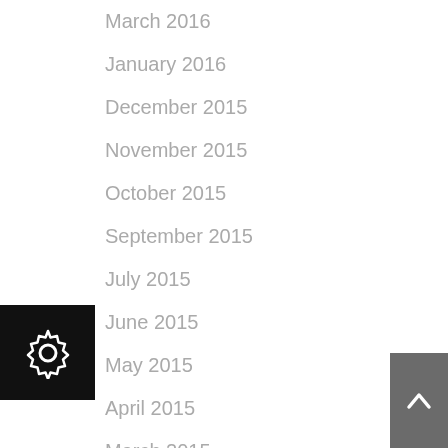March 2016
January 2016
December 2015
November 2015
October 2015
September 2015
July 2015
June 2015
May 2015
April 2015
March 2015
February 2015
December 2014